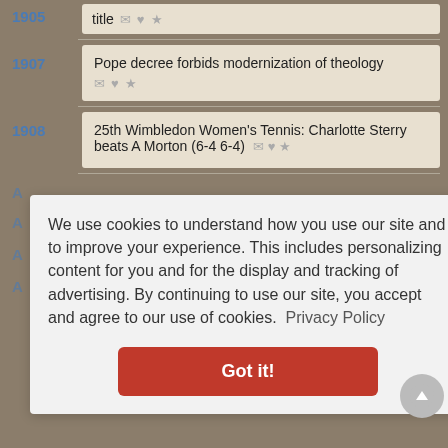1905 title
1907 Pope decree forbids modernization of theology
1908 25th Wimbledon Women's Tennis: Charlotte Sterry beats A Morton (6-4 6-4)
We use cookies to understand how you use our site and to improve your experience. This includes personalizing content for you and for the display and tracking of advertising. By continuing to use our site, you accept and agree to our use of cookies. Privacy Policy
Got it!